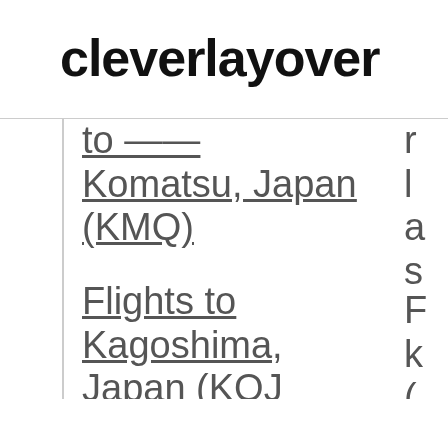cleverlayover
Komatsu, Japan (KMQ)
Flights to Kagoshima, Japan (KOJ)